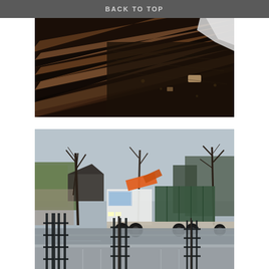BACK TO TOP
[Figure (photo): Construction/demolition scene showing wooden floor joists or planks stripped bare, dark flooring surface visible with debris and a small block of wood, a white plastic sheet in the top right corner]
[Figure (photo): Outdoor parking lot scene showing a large white heavy goods truck/lorry with an orange crane arm, carrying a dark green shipping container, surrounded by bare winter trees and metal tree guards in a car park]